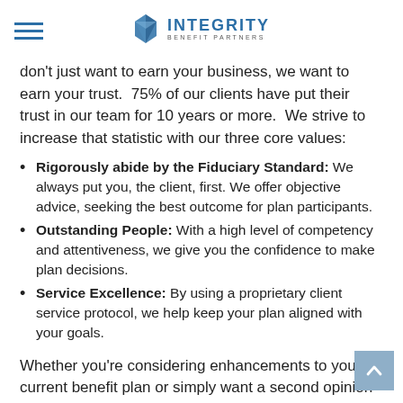Integrity Benefit Partners
don't just want to earn your business, we want to earn your trust. 75% of our clients have put their trust in our team for 10 years or more. We strive to increase that statistic with our three core values:
Rigorously abide by the Fiduciary Standard: We always put you, the client, first. We offer objective advice, seeking the best outcome for plan participants.
Outstanding People: With a high level of competency and attentiveness, we give you the confidence to make plan decisions.
Service Excellence: By using a proprietary client service protocol, we help keep your plan aligned with your goals.
Whether you're considering enhancements to your current benefit plan or simply want a second opinion on